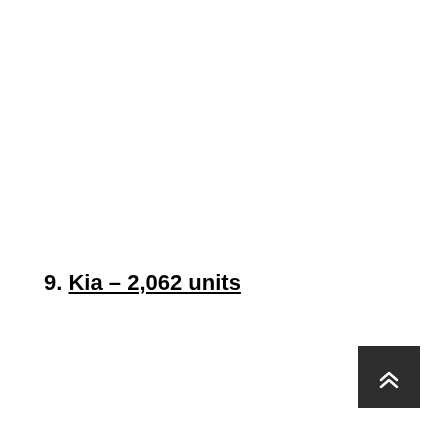9. Kia – 2,062 units
[Figure (other): Dark grey square button with double upward chevron arrows (scroll-to-top button)]